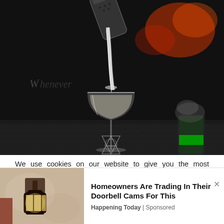[Figure (photo): A bartender pouring a creamy cocktail from a shaker into a coupe/martini glass on a dark bar counter. Background is dark with blurred red neon lights. A can of energy drink (green label) and ice cup visible on the right. A badge/logo watermark at bottom center of the image.]
We use cookies on our website to give you the most relevant experience by remembering your preferences and repeat visits. By clicking “Accept All”, you consent to the use of ALL the cookies. However, you may visit “Cookie Settings” to provide a controlled consent.
[Figure (photo): Outdoor wall lantern/lamp on a beige stucco wall, part of an ad banner for Homeowners trading doorbell cams.]
Homeowners Are Trading In Their Doorbell Cams For This
Happening Today | Sponsored